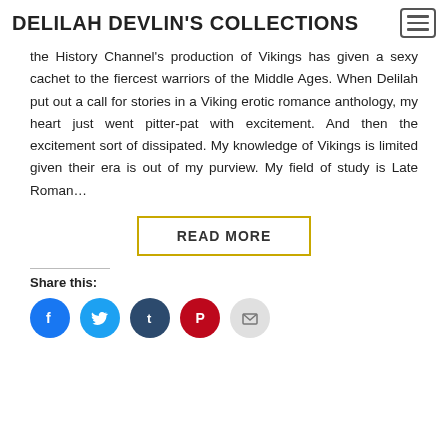DELILAH DEVLIN'S COLLECTIONS
the History Channel's production of Vikings has given a sexy cachet to the fiercest warriors of the Middle Ages. When Delilah put out a call for stories in a Viking erotic romance anthology, my heart just went pitter-pat with excitement. And then the excitement sort of dissipated. My knowledge of Vikings is limited given their era is out of my purview. My field of study is Late Roman…
READ MORE
Share this:
[Figure (other): Social share icons: Facebook, Twitter, Tumblr, Pinterest, Email]